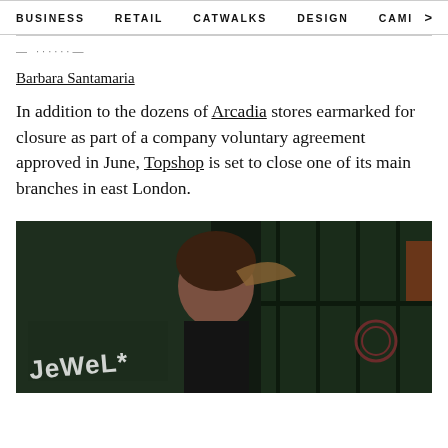BUSINESS    RETAIL    CATWALKS    DESIGN    CAMI  >
— ......—
Barbara Santamaria
In addition to the dozens of Arcadia stores earmarked for closure as part of a company voluntary agreement approved in June, Topshop is set to close one of its main branches in east London.
[Figure (photo): Street-level photo of a person standing in front of a dark green storefront with graffiti reading 'Jewel' on the left window. The person has short brown hair blowing in the wind and appears to be looking up. The right side shows dark green window panels with a circular decorative element.]